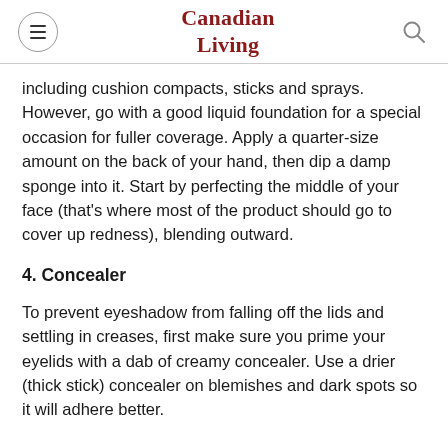Canadian Living
including cushion compacts, sticks and sprays. However, go with a good liquid foundation for a special occasion for fuller coverage. Apply a quarter-size amount on the back of your hand, then dip a damp sponge into it. Start by perfecting the middle of your face (that’s where most of the product should go to cover up redness), blending outward.
4. Concealer
To prevent eyeshadow from falling off the lids and settling in creases, first make sure you prime your eyelids with a dab of creamy concealer. Use a drier (thick stick) concealer on blemishes and dark spots so it will adhere better.